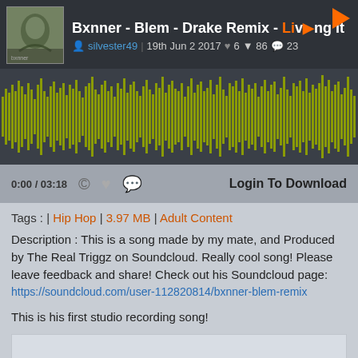Bxnner - Blem - Drake Remix - Living It
silvester49 | 19th Jun 2017 ♥ 6 ▼ 86 💬 23
[Figure (other): Audio waveform visualization in olive/yellow-green color on dark background]
0:00 / 03:18  © ♥ 💬  Login To Download
Tags : | Hip Hop | 3.97 MB | Adult Content
Description : This is a song made by my mate, and Produced by The Real Triggz on Soundcloud. Really cool song! Please leave feedback and share! Check out his Soundcloud page:
https://soundcloud.com/user-112820814/bxnner-blem-remix
This is his first studio recording song!